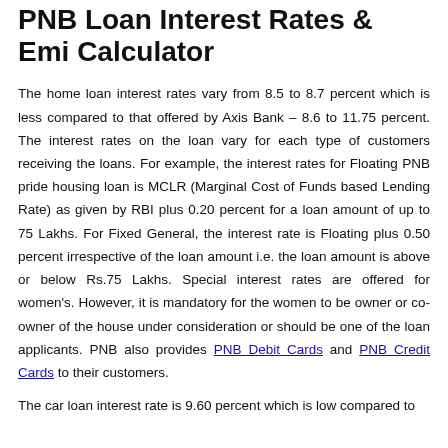PNB Loan Interest Rates & Emi Calculator
The home loan interest rates vary from 8.5 to 8.7 percent which is less compared to that offered by Axis Bank – 8.6 to 11.75 percent. The interest rates on the loan vary for each type of customers receiving the loans. For example, the interest rates for Floating PNB pride housing loan is MCLR (Marginal Cost of Funds based Lending Rate) as given by RBI plus 0.20 percent for a loan amount of up to 75 Lakhs. For Fixed General, the interest rate is Floating plus 0.50 percent irrespective of the loan amount i.e. the loan amount is above or below Rs.75 Lakhs. Special interest rates are offered for women's. However, it is mandatory for the women to be owner or co-owner of the house under consideration or should be one of the loan applicants. PNB also provides PNB Debit Cards and PNB Credit Cards to their customers.
The car loan interest rate is 9.60 percent which is low compared to...